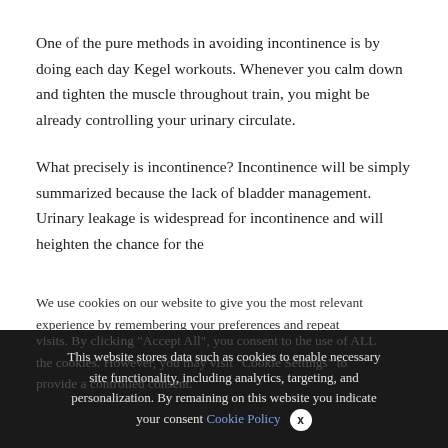One of the pure methods in avoiding incontinence is by doing each day Kegel workouts. Whenever you calm down and tighten the muscle throughout train, you might be already controlling your urinary circulate.
What precisely is incontinence? Incontinence will be simply summarized because the lack of bladder management. Urinary leakage is widespread for incontinence and will heighten the chance for the
We use cookies on our website to give you the most relevant experience by remembering your preferences and repeat visits. By clicking "Accept All", you consent to the use of ALL the cookies. However, you may visit "Cookie Settings" to provide a controlled consent.
This website stores data such as cookies to enable necessary site functionality, including analytics, targeting, and personalization. By remaining on this website you indicate your consent Cookie Policy